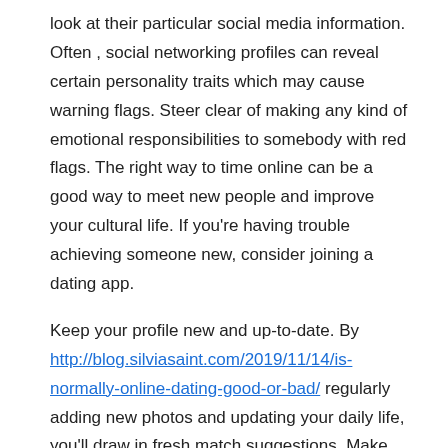look at their particular social media information. Often , social networking profiles can reveal certain personality traits which may cause warning flags. Steer clear of making any kind of emotional responsibilities to somebody with red flags. The right way to time online can be a good way to meet new people and improve your cultural life. If you're having trouble achieving someone new, consider joining a dating app.
Keep your profile new and up-to-date. By http://blog.silviasaint.com/2019/11/14/is-normally-online-dating-good-or-bad/ regularly adding new photos and updating your daily life, you'll draw in fresh match suggestions. Make sure your profile is still active, pay attention to your online hygiene. In cases where someone displays interest in you yet doesn't reply to your mail messages, block these people or remove them. When it comes to internet dating, these tips are vital. If you wish in order to meet people who are perfect for you, make an effort them out online! You might surprised in the results!